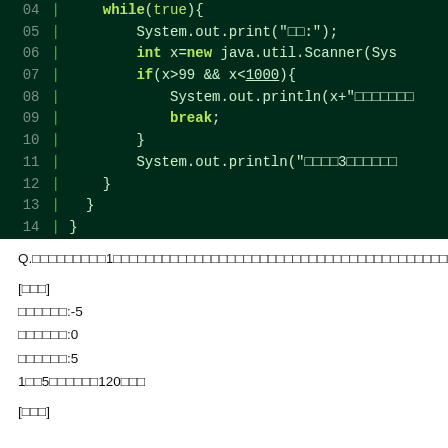[Figure (screenshot): Java code snippet showing lines 04-14 with while(true) loop, Scanner input, if condition, System.out.println, and break statement on dark green background]
Q.□□□□□□□□□1□□□□□□□□□□□□□□□□□□□□□□□□□□□□□□□□□□□□□□□□□□□□□□□
[□□□]
□□□□□□:-5
□□□□□□:0
□□□□□□:5
1□□5□□□□□□120□□□
[□□□]